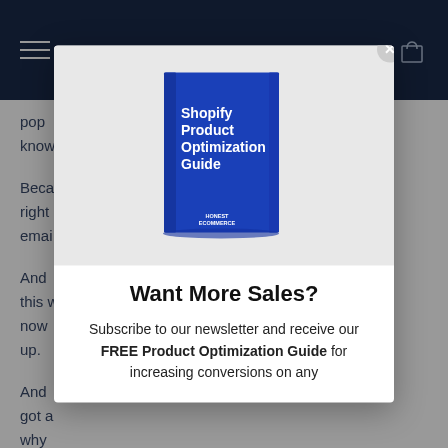[Figure (screenshot): Navy blue navigation bar with hamburger menu icon on left and shopping cart icon on right]
pop... know... Beca... right... emai... And... this w... now up. And... got a... why
[Figure (illustration): Modal popup overlay showing a book titled 'Shopify Product Optimization Guide' by Honest Ecommerce on a gray background, with a close X button in the top right corner of the modal]
Want More Sales?
Subscribe to our newsletter and receive our FREE Product Optimization Guide for increasing conversions on any